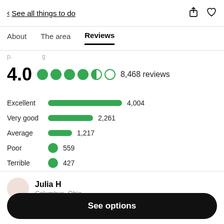< See all things to do
About  The area  Reviews
4.0  ●●●●○  8,468 reviews
[Figure (bar-chart): Review breakdown]
Julia H
See options